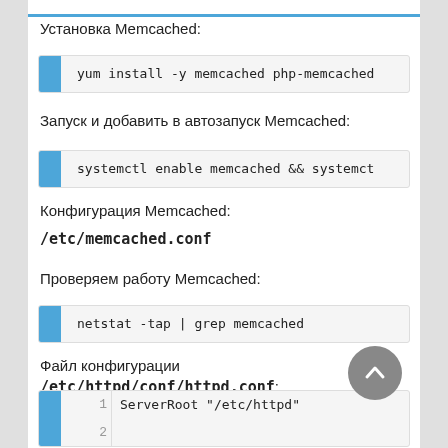Установка Memcached:
yum install -y memcached php-memcached
Запуск и добавить в автозапуск Memcached:
systemctl enable memcached && systemct
Конфигурация Memcached:
/etc/memcached.conf
Проверяем работу Memcached:
netstat -tap | grep memcached
Файл конфигурации /etc/httpd/conf/httpd.conf:
ServerRoot "/etc/httpd"